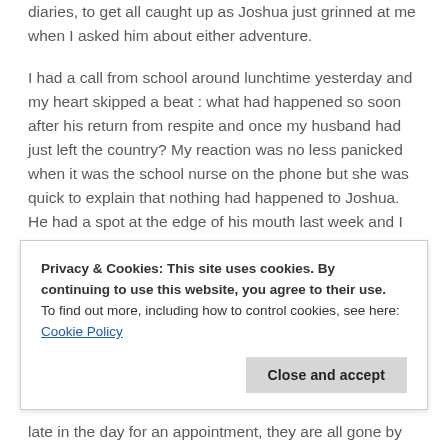diaries, to get all caught up as Joshua just grinned at me when I asked him about either adventure.
I had a call from school around lunchtime yesterday and my heart skipped a beat : what had happened so soon after his return from respite and once my husband had just left the country? My reaction was no less panicked when it was the school nurse on the phone but she was quick to explain that nothing had happened to Joshua. He had a spot at the edge of his mouth last week and I had been treating it, but it had got worse over the weekend, respite had mentioned that they thought it was a cold sore. But the nurse was querying if it could
Privacy & Cookies: This site uses cookies. By continuing to use this website, you agree to their use.
To find out more, including how to control cookies, see here: Cookie Policy
late in the day for an appointment, they are all gone by